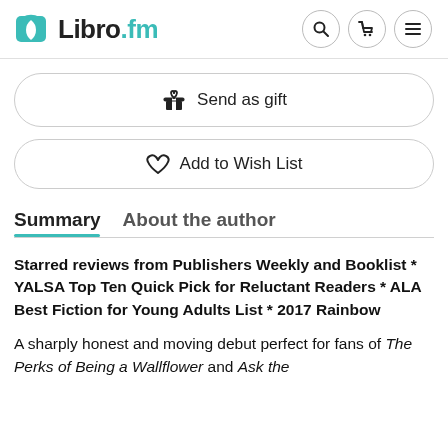Libro.fm
Send as gift
Add to Wish List
Summary   About the author
Starred reviews from Publishers Weekly and Booklist * YALSA Top Ten Quick Pick for Reluctant Readers * ALA Best Fiction for Young Adults List * 2017 Rainbow
A sharply honest and moving debut perfect for fans of The Perks of Being a Wallflower and Ask the